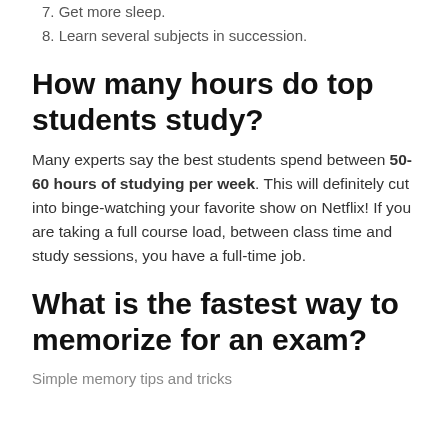7. Get more sleep.
8. Learn several subjects in succession.
How many hours do top students study?
Many experts say the best students spend between 50-60 hours of studying per week. This will definitely cut into binge-watching your favorite show on Netflix! If you are taking a full course load, between class time and study sessions, you have a full-time job.
What is the fastest way to memorize for an exam?
Simple memory tips and tricks